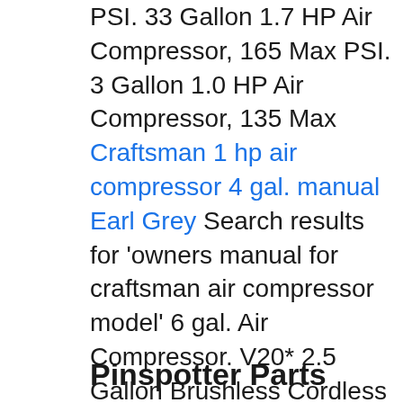PSI. 33 Gallon 1.7 HP Air Compressor, 165 Max PSI. 3 Gallon 1.0 HP Air Compressor, 135 Max Craftsman 1 hp air compressor 4 gal. manual Earl Grey Search results for 'owners manual for craftsman air compressor model' 6 gal. Air Compressor. V20* 2.5 Gallon Brushless Cordless Air Compressor. Brad Nailer & Air Compressor Combo Kit . Brad Nailer & Air Compressor Combo Kit. 4 Gallon 0.75 HP Air Compressor. 33 Gallon 1.7 HP Air Compressor, 165 Max PSI. 33 Gallon 1.7 HP Air Compressor, 165 Max PSI. 3 Gallon 1.0 HP Air Compressor, 135 Max
Pinspotter Parts